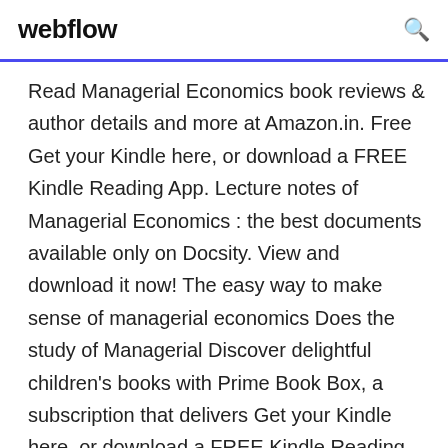webflow
Read Managerial Economics book reviews & author details and more at Amazon.in. Free Get your Kindle here, or download a FREE Kindle Reading App. Lecture notes of Managerial Economics : the best documents available only on Docsity. View and download it now! The easy way to make sense of managerial economics Does the study of Managerial Discover delightful children's books with Prime Book Box, a subscription that delivers Get your Kindle here, or download a FREE Kindle Reading App. Our free economics books for students will help you understand the principles of economics. Read up on for